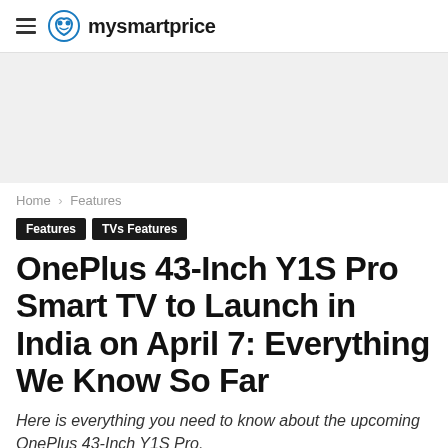mysmartprice
[Figure (other): Advertisement banner placeholder, light grey background]
Home › Features
Features   TVs Features
OnePlus 43-Inch Y1S Pro Smart TV to Launch in India on April 7: Everything We Know So Far
Here is everything you need to know about the upcoming OnePlus 43-Inch Y1S Pro.